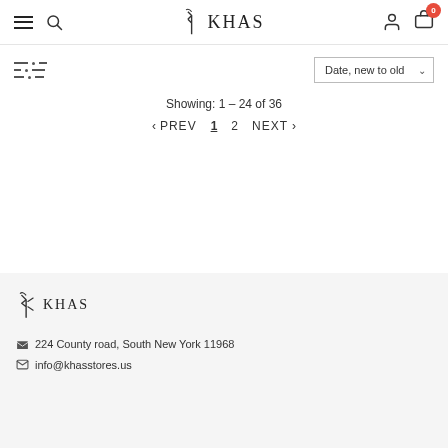KHAS — navigation header with hamburger menu, search, logo, account, and cart (0 items)
Showing: 1 – 24 of 36
< PREV  1  2  NEXT >
[Figure (logo): KHAS brand logo in footer]
224 County road, South New York 11968
info@khasstores.us